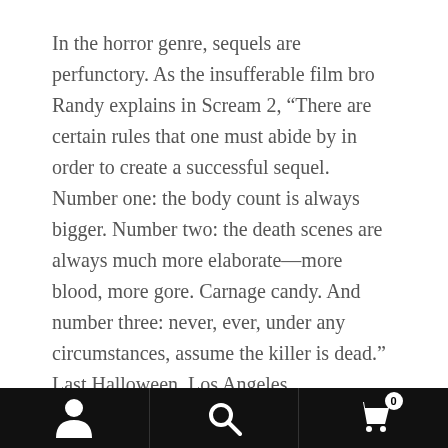In the horror genre, sequels are perfunctory. As the insufferable film bro Randy explains in Scream 2, “There are certain rules that one must abide by in order to create a successful sequel. Number one: the body count is always bigger. Number two: the death scenes are always much more elaborate—more blood, more gore. Carnage candy. And number three: never, ever, under any circumstances, assume the killer is dead.” Last Halloween, Los Angeles experimental rap mainstays Clipping ended their three-year silence with the horrorcore-inspired album There
Frais de port offerts / Free Shipping : France, Belgium, Luxembourg > 150€
Dismiss